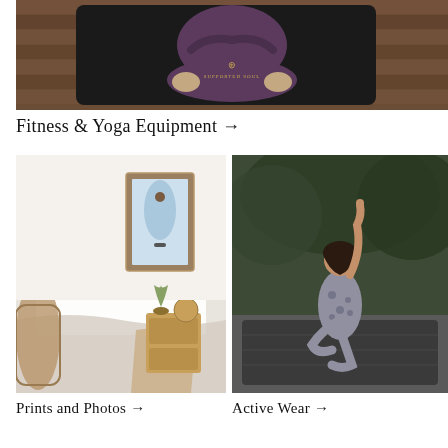[Figure (photo): Top-down view of a person in purple yoga pants sitting cross-legged on a black yoga mat with a gold logo reading 'Supported Soul' on a wood floor]
Fitness & Yoga Equipment →
[Figure (photo): Cozy bedroom with white bedding, wicker chair, wooden dresser, and a framed photo of a skateboarder on the wall]
[Figure (photo): Woman in leopard print active wear doing a yoga pose in a lush garden setting on a yoga mat]
Prints and Photos →
Active Wear →